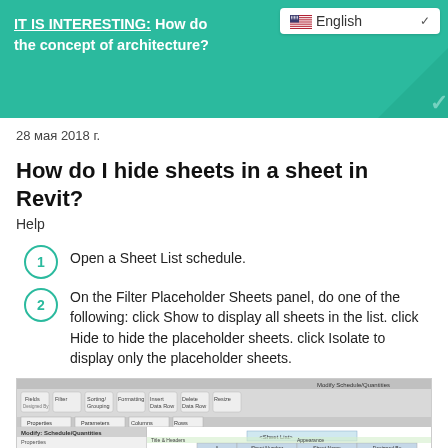IT IS INTERESTING: How do… the concept of architecture?
28 мая 2018 г.
How do I hide sheets in a sheet in Revit?
Help
Open a Sheet List schedule.
On the Filter Placeholder Sheets panel, do one of the following: click Show to display all sheets in the list. click Hide to hide the placeholder sheets. click Isolate to display only the placeholder sheets.
[Figure (screenshot): Screenshot of Revit application showing Sheet List schedule properties dialog with ribbon toolbar and properties panel]